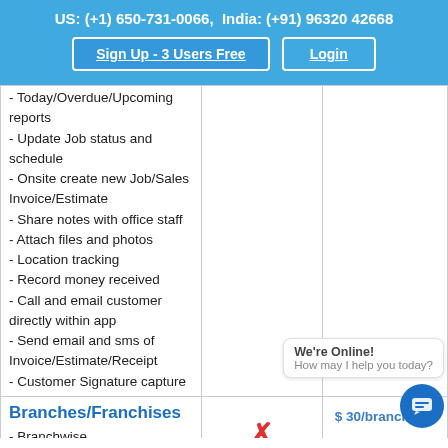US: (+1) 650-731-0066,  India: (+91) 96320 42668
Sign Up - 3 Users Free | Login
- Today/Overdue/Upcoming reports
- Update Job status and schedule
- Onsite create new Job/Sales Invoice/Estimate
- Share notes with office staff
- Attach files and photos
- Location tracking
- Record money received
- Call and email customer directly within app
- Send email and sms of Invoice/Estimate/Receipt
- Customer Signature capture
Branches/Franchises
- Branchwise technicians/employees
- Branchwise customers
$ 30/branch
We're Online! How may I help you today?